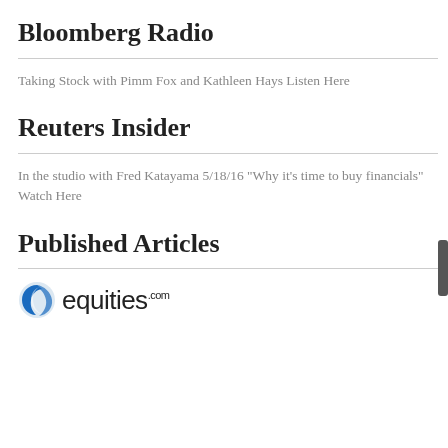Bloomberg Radio
Taking Stock with Pimm Fox and Kathleen Hays Listen Here
Reuters Insider
In the studio with Fred Katayama 5/18/16 "Why it's time to buy financials" Watch Here
Published Articles
[Figure (logo): equities.com logo with blue swirl icon and text 'equities.com']